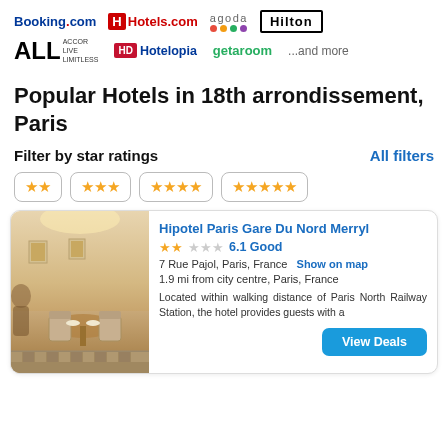[Figure (logo): Row of hotel booking platform logos: Booking.com, Hotels.com, agoda, Hilton, ALL (Accor Live Limitless), Hotelopia, getaroom, ...and more]
Popular Hotels in 18th arrondissement, Paris
Filter by star ratings
All filters
[Figure (other): Star rating filter buttons: 2 stars, 3 stars, 4 stars, 5 stars]
[Figure (photo): Hotel interior photo showing dining area with tables and chairs]
Hipotel Paris Gare Du Nord Merryl
6.1 Good
7 Rue Pajol, Paris, France   Show on map
1.9 mi from city centre, Paris, France
Located within walking distance of Paris North Railway Station, the hotel provides guests with a